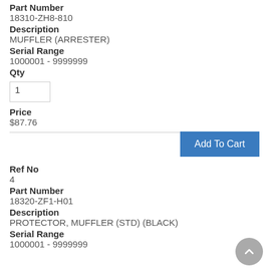Part Number
18310-ZH8-810
Description
MUFFLER (ARRESTER)
Serial Range
1000001 - 9999999
Qty
1
Price
$87.76
Add To Cart
Ref No
4
Part Number
18320-ZF1-H01
Description
PROTECTOR, MUFFLER (STD) (BLACK)
Serial Range
1000001 - 9999999